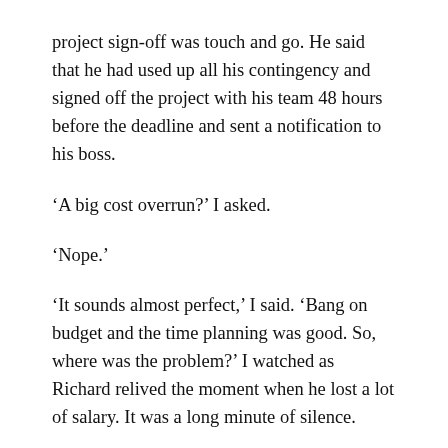project sign-off was touch and go. He said that he had used up all his contingency and signed off the project with his team 48 hours before the deadline and sent a notification to his boss.
‘A big cost overrun?’ I asked.
‘Nope.’
‘It sounds almost perfect,’ I said. ‘Bang on budget and the time planning was good. So, where was the problem?’ I watched as Richard relived the moment when he lost a lot of salary. It was a long minute of silence.
‘I learnt that communication is every bit as